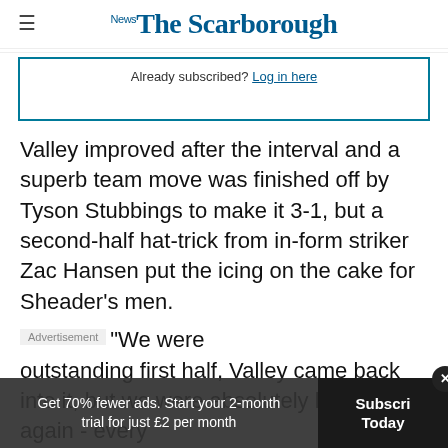The Scarborough News
Already subscribed? Log in here
Valley improved after the interval and a superb team move was finished off by Tyson Stubbings to make it 3-1, but a second-half hat-trick from in-form striker Zac Hansen put the icing on the cake for Sheader's men.
Advertisement
"We were outstanding first half, Valley came back into it, but we were absolutely brilliant again - every
Get 70% fewer ads. Start your 2-month trial for just £2 per month
Subscribe Today